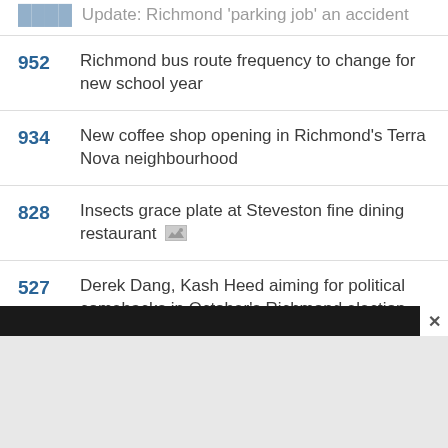Update: Richmond 'parking job' an accident
952 Richmond bus route frequency to change for new school year
934 New coffee shop opening in Richmond's Terra Nova neighbourhood
828 Insects grace plate at Steveston fine dining restaurant
527 Derek Dang, Kash Heed aiming for political comebacks in October's Richmond election